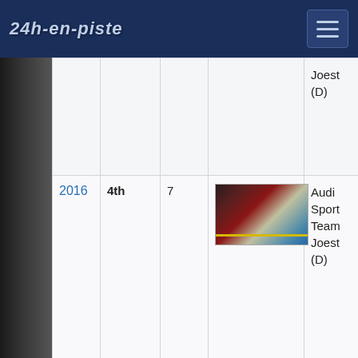24h-en-piste
| Year | Position | Number | Car | Team |
| --- | --- | --- | --- | --- |
|  |  |  |  | Joest (D) |
| 2016 | 4th | 7 | [car image] | Audi Sport Team Joest (D) |